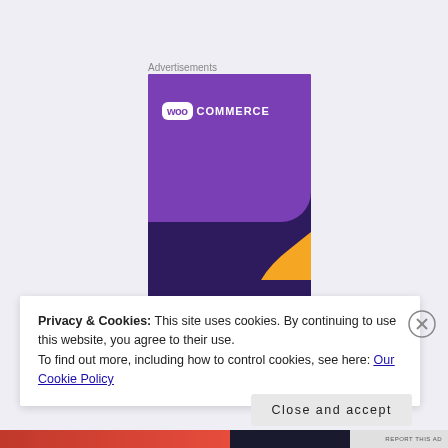Advertisements
[Figure (illustration): WooCommerce advertisement banner with purple background, WooCommerce logo at top, orange shape in lower right, and white bold text reading 'Turn your' at the bottom]
Privacy & Cookies: This site uses cookies. By continuing to use this website, you agree to their use.
To find out more, including how to control cookies, see here: Our Cookie Policy
Close and accept